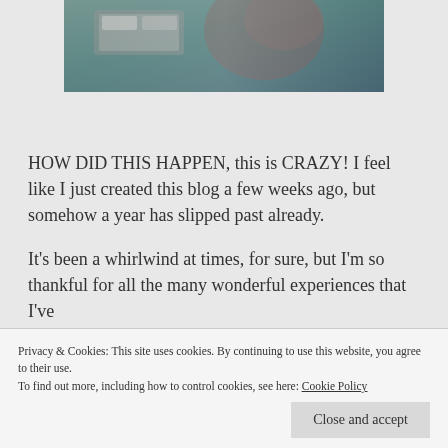[Figure (photo): Partial photograph visible at the top of the page, showing a blurry close-up image with teal/green and grey tones.]
HOW DID THIS HAPPEN, this is CRAZY! I feel like I just created this blog a few weeks ago, but somehow a year has slipped past already.
It's been a whirlwind at times, for sure, but I'm so thankful for all the many wonderful experiences that I've
Privacy & Cookies: This site uses cookies. By continuing to use this website, you agree to their use.
To find out more, including how to control cookies, see here: Cookie Policy
Close and accept